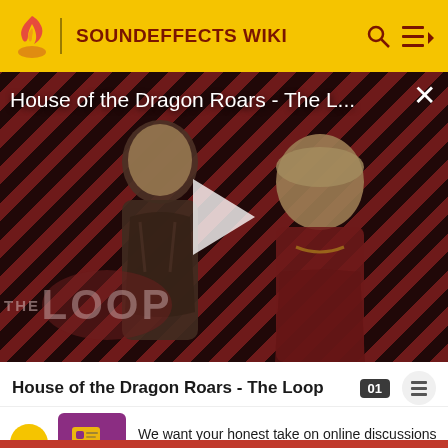SOUNDEFFECTS WIKI
[Figure (screenshot): Video thumbnail for 'House of the Dragon Roars - The Loop' showing two characters in medieval fantasy costumes against a diagonal red and dark stripe background with 'THE LOOP' watermark and a play button in the center]
House of the Dragon Roars - The Loop
We want your honest take on online discussions
SURVEY: ONLINE FORUMS